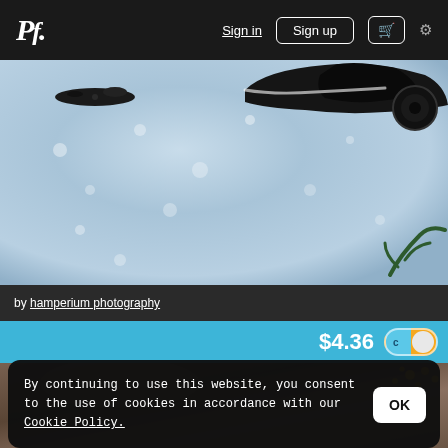Pf. | Sign in | Sign up | [cart] | [settings]
[Figure (photo): Winter outdoor scene with a dark vehicle or machinery silhouette in upper portion, snow-covered sky/ground background, small dark flying object upper left, green branch lower right]
by hamperium photography
$4.36
[Figure (photo): Partial view of second photo showing blurred brown/beige tones with gold/yellow dots upper right]
By continuing to use this website, you consent to the use of cookies in accordance with our Cookie Policy.
OK